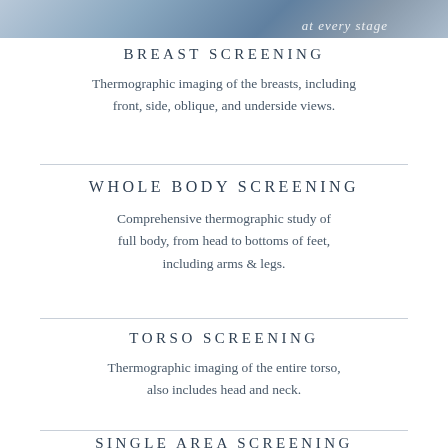[Figure (photo): Partial image at top of page showing a person, with italic text overlay reading 'at every stage']
BREAST SCREENING
Thermographic imaging of the breasts, including front, side, oblique, and underside views.
WHOLE BODY SCREENING
Comprehensive thermographic study of full body, from head to bottoms of feet, including arms & legs.
TORSO SCREENING
Thermographic imaging of the entire torso, also includes head and neck.
SINGLE AREA SCREENING